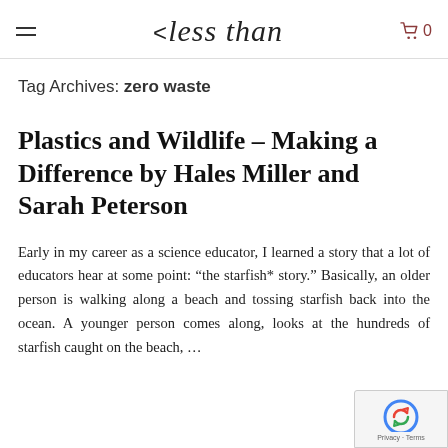< less than
Tag Archives: zero waste
Plastics and Wildlife – Making a Difference by Hales Miller and Sarah Peterson
Early in my career as a science educator, I learned a story that a lot of educators hear at some point: "the starfish* story." Basically, an older person is walking along a beach and tossing starfish back into the ocean. A younger person comes along, looks at the hundreds of starfish caught on the beach, …